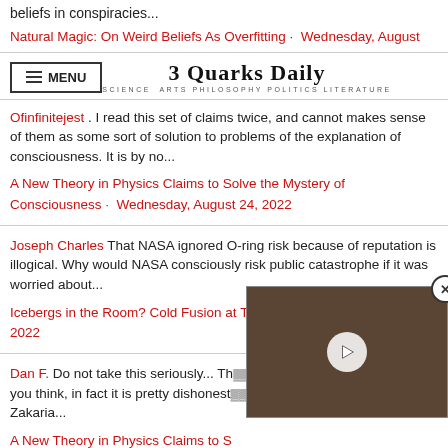beliefs in conspiracies...
Natural Magic: On Weird Beliefs As Overfitting · Wednesday, August
[Figure (screenshot): 3 Quarks Daily website header with hamburger menu button and site logo]
Ofinfinitejest . I read this set of claims twice, and cannot makes sense of them as some sort of solution to problems of the explanation of consciousness. It is by no...
A New Theory in Physics Claims to Solve the Mystery of Consciousness · Wednesday, August 24, 2022
Joseph Charles That NASA ignored O-ring risk because of reputation is illogical. Why would NASA consciously risk public catastrophe if it was worried about...
Icebergs in the Room? Cold Fusion at Thirty · Wednesday, August 24, 2022
Dan F. Do not take this seriously... Th... you think, in fact it is pretty dishonest... Zakaria...
A New Theory in Physics Claims to S...
[Figure (photo): Video overlay thumbnail showing an animal (possibly an otter or similar creature) with a play button, and a close X button]